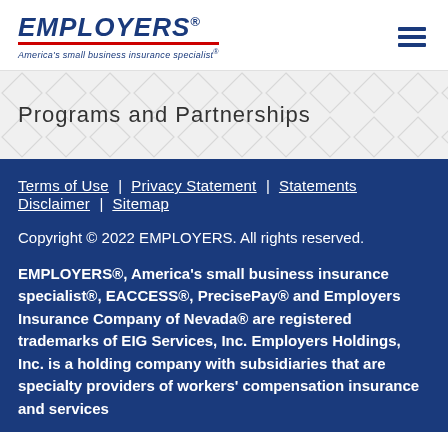[Figure (logo): EMPLOYERS logo with red underline and tagline 'America's small business insurance specialist®']
Programs and Partnerships
Terms of Use | Privacy Statement | Statements Disclaimer | Sitemap
Copyright © 2022 EMPLOYERS. All rights reserved.
EMPLOYERS®, America's small business insurance specialist®, EACCESS®, PrecisePay® and Employers Insurance Company of Nevada® are registered trademarks of EIG Services, Inc. Employers Holdings, Inc. is a holding company with subsidiaries that are specialty providers of workers' compensation insurance and services